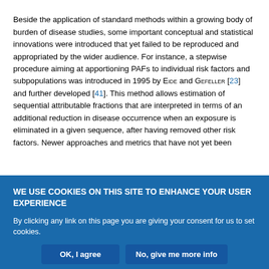Beside the application of standard methods within a growing body of burden of disease studies, some important conceptual and statistical innovations were introduced that yet failed to be reproduced and appropriated by the wider audience. For instance, a stepwise procedure aiming at apportioning PAFs to individual risk factors and subpopulations was introduced in 1995 by Eide and Gefeller [23] and further developed [41]. This method allows estimation of sequential attributable fractions that are interpreted in terms of an additional reduction in disease occurrence when an exposure is eliminated in a given sequence, after having removed other risk factors. Newer approaches and metrics that have not yet been
WE USE COOKIES ON THIS SITE TO ENHANCE YOUR USER EXPERIENCE
By clicking any link on this page you are giving your consent for us to set cookies.
OK, I agree
No, give me more info